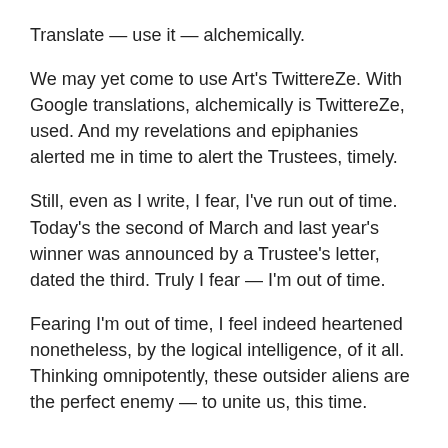Translate — use it — alchemically.
We may yet come to use Art's TwittereZe. With Google translations, alchemically is TwittereZe, used. And my revelations and epiphanies alerted me in time to alert the Trustees, timely.
Still, even as I write, I fear, I've run out of time. Today's the second of March and last year's winner was announced by a Trustee's letter, dated the third. Truly I fear — I'm out of time.
Fearing I'm out of time, I feel indeed heartened nonetheless, by the logical intelligence, of it all. Thinking omnipotently, these outsider aliens are the perfect enemy — to unite us, this time.